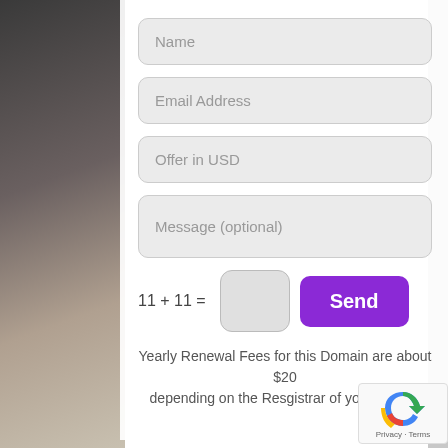Name
Email Address
Offer in USD
Message (optional)
11 + 11 =
Send
Yearly Renewal Fees for this Domain are about $20 depending on the Resgistrar of your choice.
Privacy · Terms